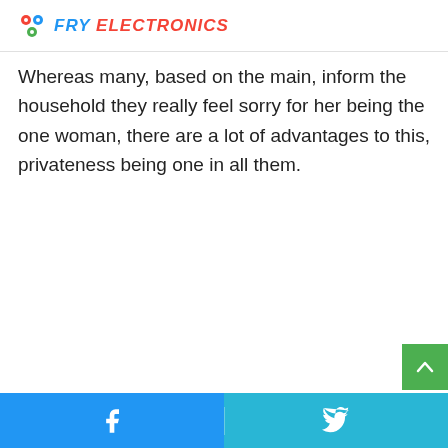FRY ELECTRONICS
Whereas many, based on the main, inform the household they really feel sorry for her being the one woman, there are a lot of advantages to this, privateness being one in all them.
Social share buttons: Facebook, Twitter